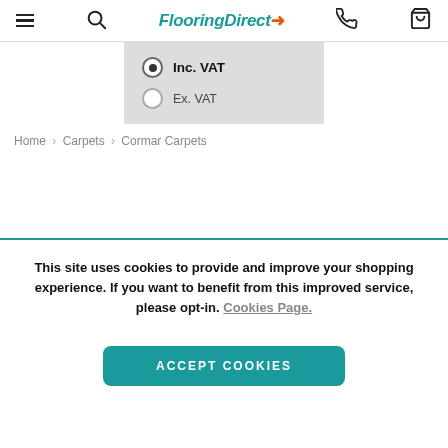FlooringDirect
Inc. VAT
Ex. VAT
Home > Carpets > Cormar Carpets
This site uses cookies to provide and improve your shopping experience. If you want to benefit from this improved service, please opt-in. Cookies Page.
ACCEPT COOKIES